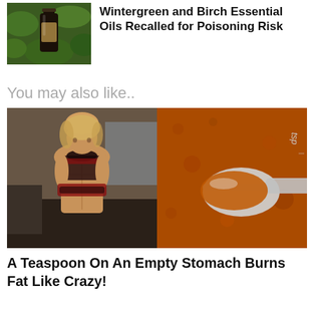[Figure (photo): Small thumbnail of a dark glass bottle with green leaves in background]
Wintergreen and Birch Essential Oils Recalled for Poisoning Risk
You may also like..
[Figure (photo): Composite image: left half shows a muscular woman in gym attire lifting her shirt to show abs; right half shows a teaspoon filled with orange/red spice powder on a spice-covered surface]
A Teaspoon On An Empty Stomach Burns Fat Like Crazy!